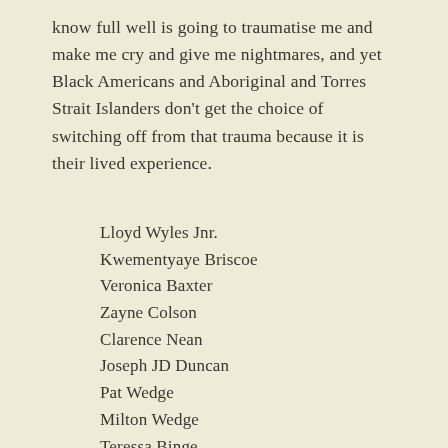know full well is going to traumatise me and make me cry and give me nightmares, and yet Black Americans and Aboriginal and Torres Strait Islanders don't get the choice of switching off from that trauma because it is their lived experience.
Lloyd Wyles Jnr.
Kwementyaye Briscoe
Veronica Baxter
Zayne Colson
Clarence Nean
Joseph JD Duncan
Pat Wedge
Milton Wedge
Teressa Binge
Johann Morgan
Cleon Jackman